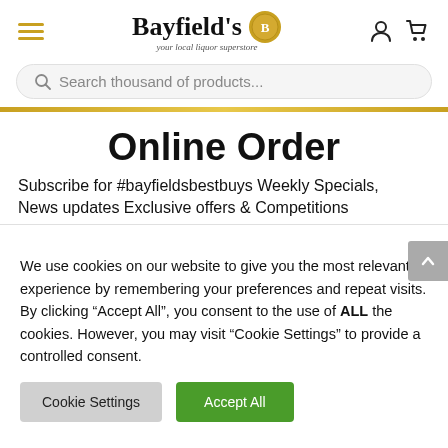[Figure (logo): Bayfield's liquor superstore logo with gold seal badge and tagline 'your local liquor superstore']
Search thousand of products...
Online Order
Subscribe for #bayfieldsbestbuys Weekly Specials, News updates Exclusive offers & Competitions
We use cookies on our website to give you the most relevant experience by remembering your preferences and repeat visits. By clicking "Accept All", you consent to the use of ALL the cookies. However, you may visit "Cookie Settings" to provide a controlled consent.
Cookie Settings | Accept All